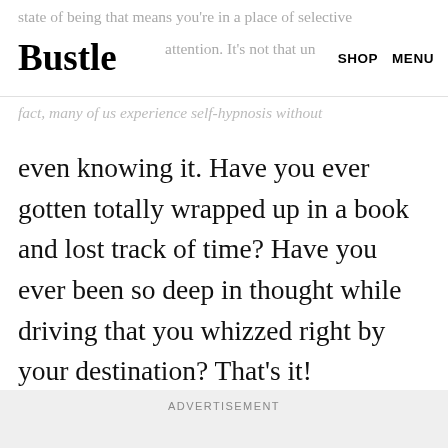state of being that means you're in a place of selective attention. It's not that un... Bustle SHOP MENU
fact, many of us experience self-hypnosis without even knowing it. Have you ever gotten totally wrapped up in a book and lost track of time? Have you ever been so deep in thought while driving that you whizzed right by your destination? That's it!
ADVERTISEMENT